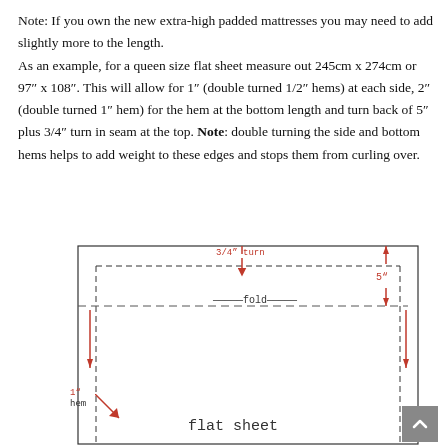Note: If you own the new extra-high padded mattresses you may need to add slightly more to the length. As an example, for a queen size flat sheet measure out 245cm x 274cm or 97″ x 108″. This will allow for 1″ (double turned 1/2″ hems) at each side, 2″ (double turned 1″ hem) for the hem at the bottom length and turn back of 5″ plus 3/4″ turn in seam at the top. Note: double turning the side and bottom hems helps to add weight to these edges and stops them from curling over.
[Figure (engineering-diagram): Diagram of a flat sheet showing hemming measurements: 3/4" turn at top with dashed fold line, 5" turn-back, 1" hem at sides, with labels 'fold' and 'flat sheet']